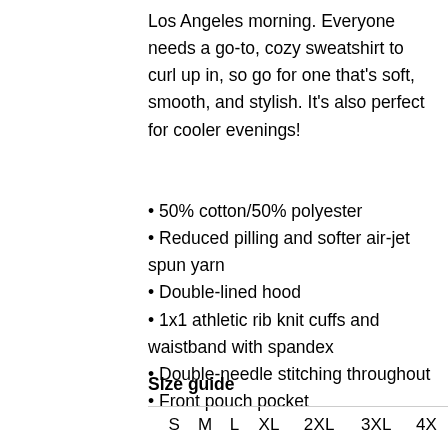Los Angeles morning. Everyone needs a go-to, cozy sweatshirt to curl up in, so go for one that's soft, smooth, and stylish. It's also perfect for cooler evenings!
• 50% cotton/50% polyester
• Reduced pilling and softer air-jet spun yarn
• Double-lined hood
• 1x1 athletic rib knit cuffs and waistband with spandex
• Double-needle stitching throughout
• Front pouch pocket
Size guide
|  | S | M | L | XL | 2XL | 3XL | 4X |
| --- | --- | --- | --- | --- | --- | --- | --- |